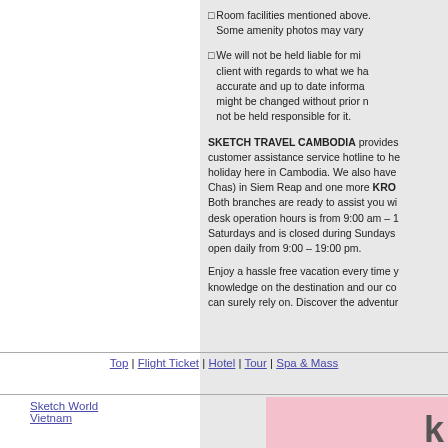□Room facilities mentioned above. Some amenity photos may vary
□We will not be held liable for misunderstanding between client with regards to what we have mentioned. We provide accurate and up to date information, however things might be changed without prior notice thus we will not be held responsible for it.
SKETCH TRAVEL CAMBODIA provides a 24-hour customer assistance service hotline to help you enjoy your holiday here in Cambodia. We also have KROB (Chba Meas Chas) in Siem Reap and one more KROB in Phnom Penh. Both branches are ready to assist you with any issue. Our desk operation hours is from 9:00 am – 18:00 pm on Saturdays and is closed during Sundays while Phnom Penh is open daily from 9:00 – 19:00 pm.
Enjoy a hassle free vacation every time you travel with us. Our knowledge on the destination and our commitment is what you can surely rely on. Discover the adventure...
Top | Flight Ticket | Hotel | Tour | Spa & Mass
Sketch World Vietnam